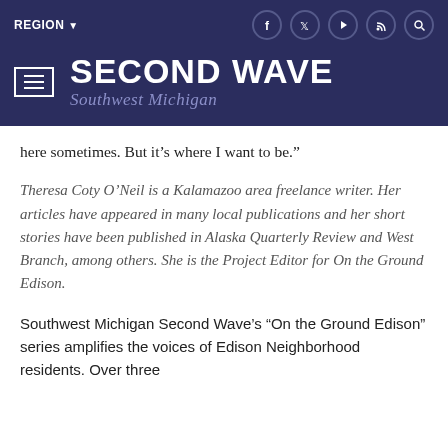SECOND WAVE Southwest Michigan
here sometimes. But it’s where I want to be.”
Theresa Coty O’Neil is a Kalamazoo area freelance writer. Her articles have appeared in many local publications and her short stories have been published in Alaska Quarterly Review and West Branch, among others. She is the Project Editor for On the Ground Edison.
Southwest Michigan Second Wave’s “On the Ground Edison” series amplifies the voices of Edison Neighborhood residents. Over three